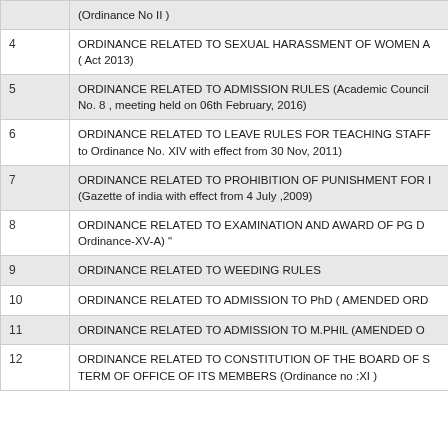| # | Description |
| --- | --- |
|  | (Ordinance No II ) |
| 4 | ORDINANCE RELATED TO SEXUAL HARASSMENT OF WOMEN A ( Act 2013) |
| 5 | ORDINANCE RELATED TO ADMISSION RULES (Academic Council No. 8 , meeting held on 06th February, 2016) |
| 6 | ORDINANCE RELATED TO LEAVE RULES FOR TEACHING STAFF to Ordinance No. XIV with effect from 30 Nov, 2011) |
| 7 | ORDINANCE RELATED TO PROHIBITION OF PUNISHMENT FOR I (Gazette of india with effect from 4 July ,2009) |
| 8 | ORDINANCE RELATED TO EXAMINATION AND AWARD OF PG D Ordinance-XV-A) " |
| 9 | ORDINANCE RELATED TO WEEDING RULES |
| 10 | ORDINANCE RELATED TO ADMISSION TO PhD ( AMENDED ORD |
| 11 | ORDINANCE RELATED TO ADMISSION TO M.PHIL (AMENDED O |
| 12 | ORDINANCE RELATED TO CONSTITUTION OF THE BOARD OF S TERM OF OFFICE OF ITS MEMBERS (Ordinance no :XI ) |